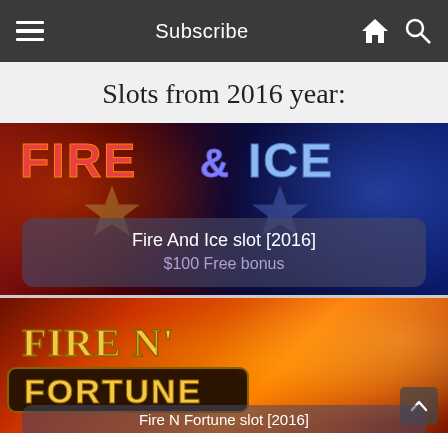Subscribe
Slots from 2016 year:
[Figure (screenshot): Fire And Ice slot game banner with red fire on the left and blue ice on the right, gold stars in center]
Fire And Ice slot [2016]
$100 Free bonus
[Figure (screenshot): Fire N Fortune slot game banner with phoenix bird and golden logo on red-orange fiery background]
Fire N Fortune slot [2016]